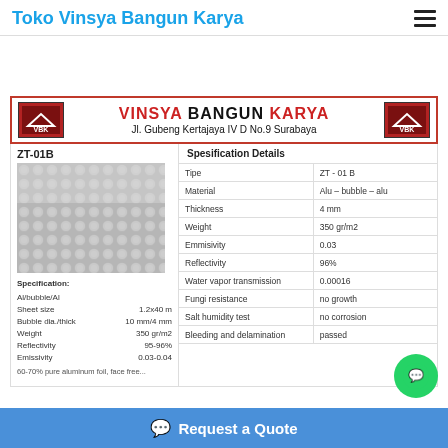Toko Vinsya Bangun Karya
[Figure (logo): Vinsya Bangun Karya company banner with red border, two VBK logos on sides, company name in red/dark text and address: Jl. Gubeng Kertajaya IV D No.9 Surabaya]
ZT-01B
[Figure (photo): Close-up photo of aluminum bubble insulation material showing reflective surface with bubble pattern]
Specification: Al/bubble/Al Sheet size 1.2x40 m Bubble dia./thick 10 mm/4 mm Weight 350 gr/m2 Reflectivity 95-96% Emissivity 0.03-0.04 60-70% pure aluminum foil, face free...
Spesification Details
| Property | Value |
| --- | --- |
| Tipe | ZT - 01 B |
| Material | Alu – bubble – alu |
| Thickness | 4 mm |
| Weight | 350 gr/m2 |
| Emmisivity | 0.03 |
| Reflectivity | 96% |
| Water vapor transmission | 0.00016 |
| Fungi resistance | no growth |
| Salt humidity test | no corrosion |
| Bleeding and delamination | passed |
Request a Quote